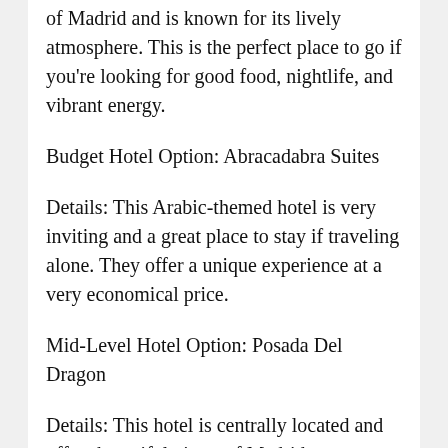of Madrid and is known for its lively atmosphere. This is the perfect place to go if you're looking for good food, nightlife, and vibrant energy.
Budget Hotel Option: Abracadabra Suites
Details: This Arabic-themed hotel is very inviting and a great place to stay if traveling alone. They offer a unique experience at a very economical price.
Mid-Level Hotel Option: Posada Del Dragon
Details: This hotel is centrally located and offers beautiful views of Madrid.